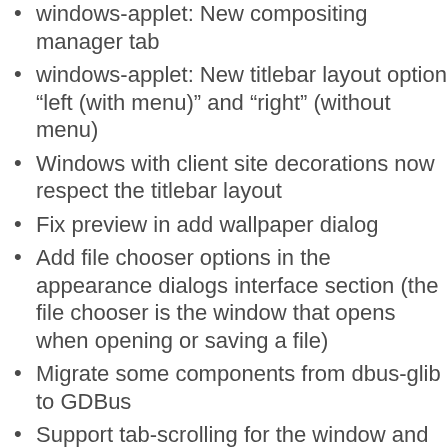windows-applet: New compositing manager tab
windows-applet: New titlebar layout option “left (with menu)” and “right” (without menu)
Windows with client site decorations now respect the titlebar layout
Fix preview in add wallpaper dialog
Add file chooser options in the appearance dialogs interface section (the file chooser is the window that opens when opening or saving a file)
Migrate some components from dbus-glib to GDBus
Support tab-scrolling for the window and appearance dialog
The Display applet gained an option for display scaling
build: Add option to disable Native